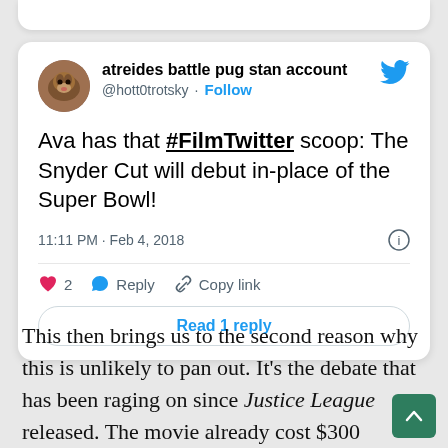[Figure (screenshot): Tweet screenshot from @hott0trotsky (atreides battle pug stan account) saying 'Ava has that #FilmTwitter scoop: The Snyder Cut will debut in-place of the Super Bowl!' posted at 11:11 PM · Feb 4, 2018, with 2 likes, Reply, Copy link options, and a Read 1 reply button.]
This then brings us to the second reason why this is unlikely to pan out. It's the debate that has been raging on since Justice League released. The movie already cost $300 million to make and barely ma